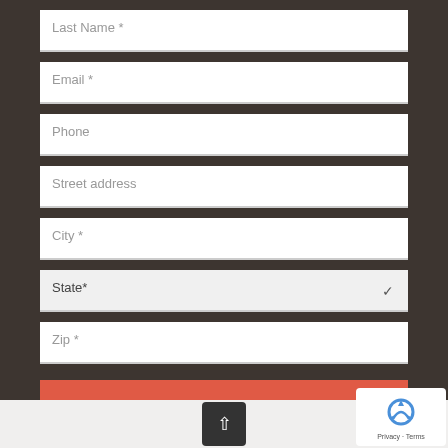Last Name *
Email *
Phone
Street address
City *
State*
Zip *
SUBMIT
[Figure (logo): reCAPTCHA badge with privacy and terms text]
[Figure (other): Scroll up arrow button]